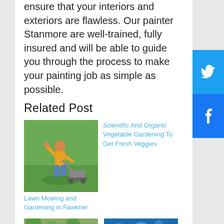ensure that your interiors and exteriors are flawless. Our painter Stanmore are well-trained, fully insured and will be able to guide you through the process to make your painting job as simple as possible.
Related Post
[Figure (photo): Person gardening/mowing lawn outdoors on green grass]
Scientific And Organic Vegetable Gardening To Get Fresh Veggies
Lawn Mowing and Gardening in Fawkner
[Figure (photo): Garden with trees and plants]
[Figure (photo): Blue bokeh background]
[Figure (other): Twitter share button (blue)]
[Figure (other): Facebook share button (blue)]